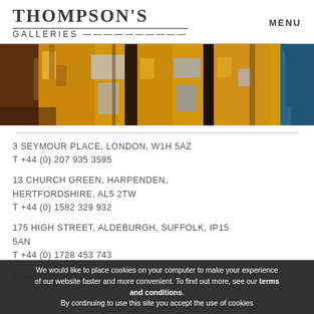THOMPSON'S GALLERIES | MENU
[Figure (photo): Abstract painting with yellow, brown, dark, and blue tones — visible brushstrokes of color blocks]
3 SEYMOUR PLACE, LONDON, W1H 5AZ
T +44 (0) 207 935 3595
13 CHURCH GREEN, HARPENDEN, HERTFORDSHIRE, AL5 2TW
T +44 (0) 1582 329 932
175 HIGH STREET, ALDEBURGH, SUFFOLK, IP15 5AN
T +44 (0) 1728 453 743
E: enquiries@thompsons-galleries.co.uk
We would like to place cookies on your computer to make your experience of our website faster and more convenient. To find out more, see our terms and conditions.
By continuing to use this site you accept the use of cookies